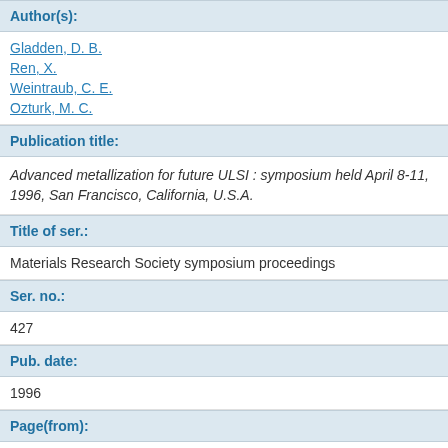Author(s):
Gladden, D. B.
Ren, X.
Weintraub, C. E.
Ozturk, M. C.
Publication title:
Advanced metallization for future ULSI : symposium held April 8-11, 1996, San Francisco, California, U.S.A.
Title of ser.:
Materials Research Society symposium proceedings
Ser. no.:
427
Pub. date:
1996
Page(from):
523
Pub. info.: